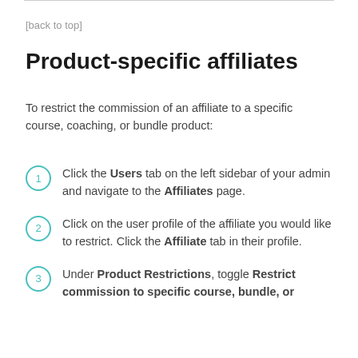[back to top]
Product-specific affiliates
To restrict the commission of an affiliate to a specific course, coaching, or bundle product:
Click the Users tab on the left sidebar of your admin and navigate to the Affiliates page.
Click on the user profile of the affiliate you would like to restrict. Click the Affiliate tab in their profile.
Under Product Restrictions, toggle Restrict commission to specific course, bundle, or